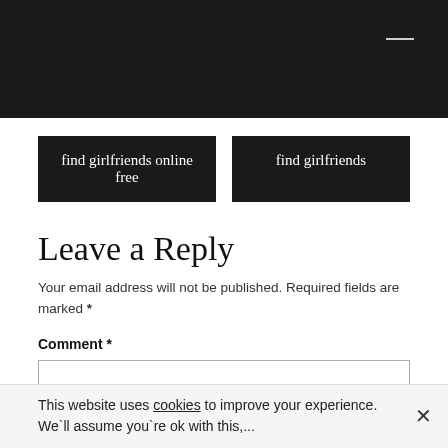[Figure (other): Navigation button: find girlfriends online free]
[Figure (other): Navigation button: find girlfriends]
Leave a Reply
Your email address will not be published. Required fields are marked *
Comment *
This website uses cookies to improve your experience. We`ll assume you`re ok with this,...